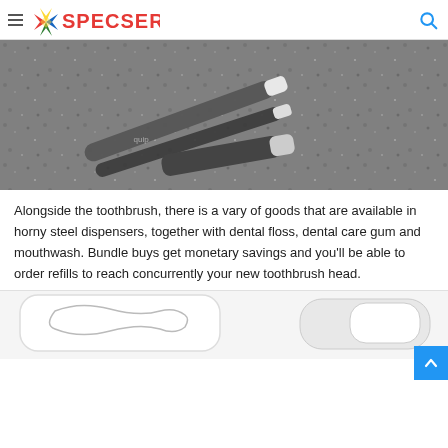SPECSER
[Figure (photo): Two quip electric toothbrushes on a granite countertop — one white and one dark gray/slate, lying flat with their caps off.]
Alongside the toothbrush, there is a vary of goods that are available in horny steel dispensers, together with dental floss, dental care gum and mouthwash. Bundle buys get monetary savings and you'll be able to order refills to reach concurrently your new toothbrush head.
[Figure (photo): Close-up of a white dental product tray or case on a light background, partially visible.]